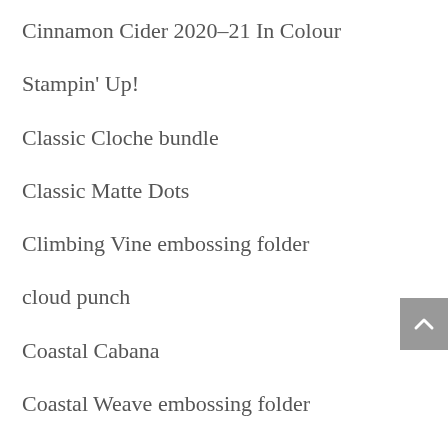Cinnamon Cider 2020-21 In Colour
Stampin' Up!
Classic Cloche bundle
Classic Matte Dots
Climbing Vine embossing folder
cloud punch
Coastal Cabana
Coastal Weave embossing folder
Color & Contour bundle
colour